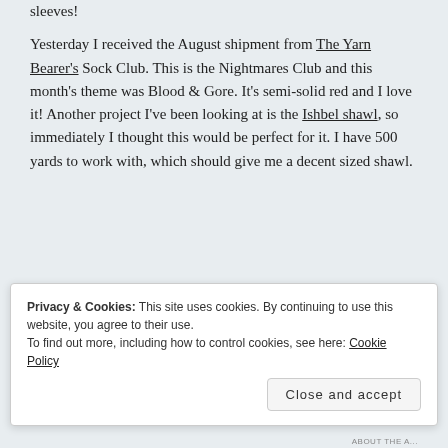sleeves!
Yesterday I received the August shipment from The Yarn Bearer's Sock Club. This is the Nightmares Club and this month's theme was Blood & Gore. It's semi-solid red and I love it! Another project I've been looking at is the Ishbel shawl, so immediately I thought this would be perfect for it. I have 500 yards to work with, which should give me a decent sized shawl.
[Figure (other): Dark advertisement banner with a teal 'Learn More' button]
Privacy & Cookies: This site uses cookies. By continuing to use this website, you agree to their use.
To find out more, including how to control cookies, see here: Cookie Policy
Close and accept